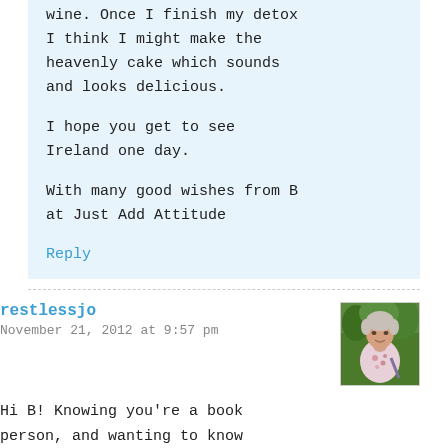wine. Once I finish my detox I think I might make the heavenly cake which sounds and looks delicious.

I hope you get to see Ireland one day.

With many good wishes from B at Just Add Attitude
Reply
restlessjo
November 21, 2012 at 9:57 pm
Hi B! Knowing you're a book person, and wanting to know more, I thought you might like to accept the Booker Award? This is the list...